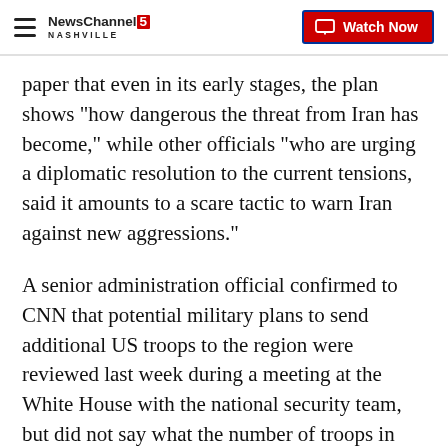NewsChannel 5 Nashville — Watch Now
paper that even in its early stages, the plan shows "how dangerous the threat from Iran has become," while other officials "who are urging a diplomatic resolution to the current tensions, said it amounts to a scare tactic to warn Iran against new aggressions."
A senior administration official confirmed to CNN that potential military plans to send additional US troops to the region were reviewed last week during a meeting at the White House with the national security team, but did not say what the number of troops in that force would be.
Another senior administration official told reporters last week that if Iran does not remain in the 2015